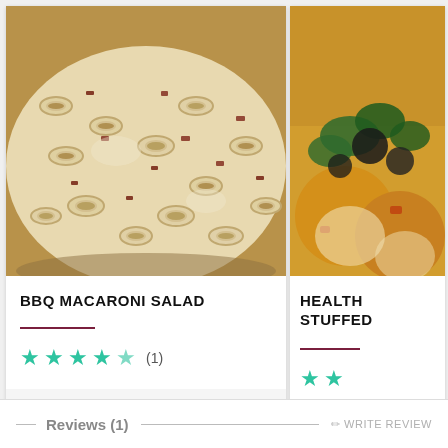[Figure (photo): Bowl of BBQ macaroni salad with pasta, bacon pieces, and creamy dressing]
BBQ MACARONI SALAD
[Figure (photo): Partially visible food photo showing stuffed item with greens (second card, cropped)]
HEALTH STUFFED
★★★★★ (1)
★★
— Reviews (1) ——————————————————————— ✏ WRITE REVIEW